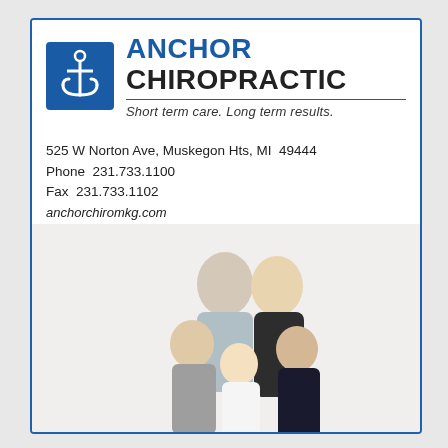[Figure (logo): Anchor Chiropractic logo with blue anchor icon and company name]
525 W Norton Ave, Muskegon Hts, MI  49444
Phone  231.733.1100
Fax  231.733.1102
anchorchiromkg.com
[Figure (photo): Family portrait of two parents and three children on white background]
New Patients Welcome
All Insurances Accepted